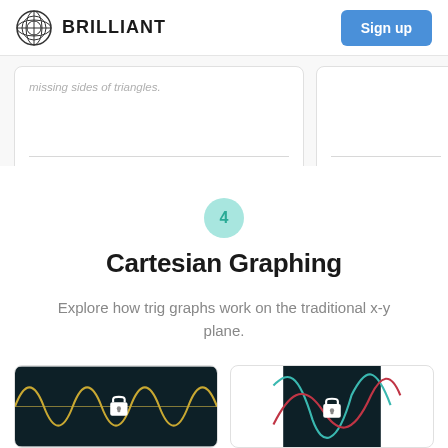BRILLIANT | Sign up
missing sides of triangles.
4
Cartesian Graphing
Explore how trig graphs work on the traditional x-y plane.
[Figure (screenshot): Dark background graph showing a sine wave curve in olive/yellow color with a lock icon overlay, representing a locked lesson on Cartesian graphing]
[Figure (screenshot): Dark background graph showing multiple overlapping sine/cosine curves in teal and red colors with a lock icon overlay, representing a locked lesson on Cartesian graphing]